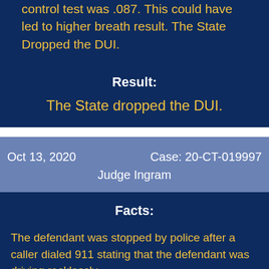control test was .087. This could have led to higher breath result. The State Dropped the DUI.
Result:
The State dropped the DUI.
Oct 13, 2020   Case: 20-CT-019997   Judge Ingram
Facts:
The defendant was stopped by police after a caller dialed 911 stating that the defendant was driving recklessly. Officers spotted the car driven by the